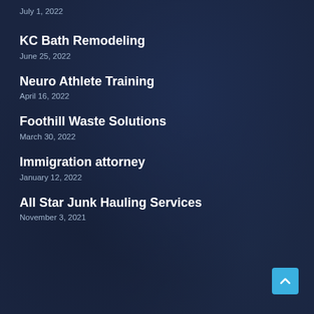July 1, 2022
KC Bath Remodeling
June 25, 2022
Neuro Athlete Training
April 16, 2022
Foothill Waste Solutions
March 30, 2022
Immigration attorney
January 12, 2022
All Star Junk Hauling Services
November 3, 2021